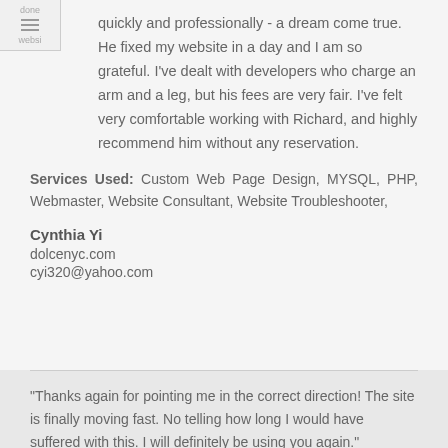done quickly and professionally - a dream come true. He fixed my website in a day and I am so grateful. I've dealt with developers who charge an arm and a leg, but his fees are very fair. I've felt very comfortable working with Richard, and highly recommend him without any reservation.
Services Used: Custom Web Page Design, MYSQL, PHP, Webmaster, Website Consultant, Website Troubleshooter,
Cynthia Yi
dolcenyc.com
cyi320@yahoo.com
"Thanks again for pointing me in the correct direction! The site is finally moving fast. No telling how long I would have suffered with this. I will definitely be using you again."